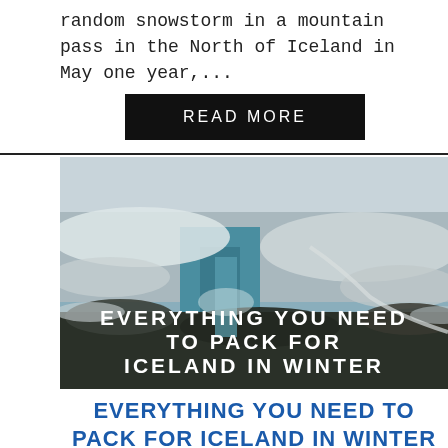random snowstorm in a mountain pass in the North of Iceland in May one year,...
READ MORE
[Figure (photo): Aerial view of a snow-covered waterfall and canyon in Iceland in winter, with the text 'EVERYTHING YOU NEED TO PACK FOR ICELAND IN WINTER' overlaid in white bold uppercase letters]
EVERYTHING YOU NEED TO PACK FOR ICELAND IN WINTER